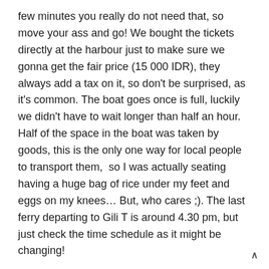few minutes you really do not need that, so move your ass and go! We bought the tickets directly at the harbour just to make sure we gonna get the fair price (15 000 IDR), they always add a tax on it, so don't be surprised, as it's common. The boat goes once is full, luckily we didn't have to wait longer than half an hour. Half of the space in the boat was taken by goods, this is the only one way for local people to transport them,  so I was actually seating having a huge bag of rice under my feet and eggs on my knees… But, who cares ;). The last ferry departing to Gili T is around 4.30 pm, but just check the time schedule as it might be changing!
Obviously if you wanna travel in a more luxury way you can ge a  s p e e d b o a t but I believe traveling in a local way is much more fun! The funny thing is that usually you're not getting on the boat from the pier (naive – I was expecting that, ended up with completely wet new trainers…), but you need to jump on it from the water, it